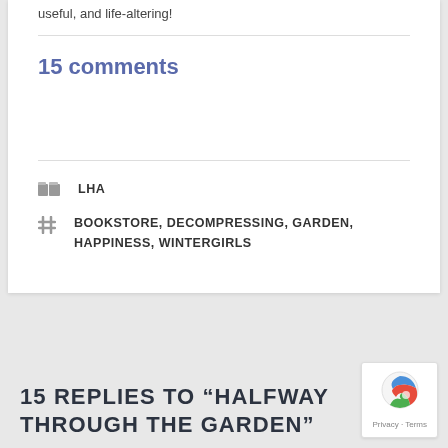useful, and life-altering!
15 comments
LHA
BOOKSTORE, DECOMPRESSING, GARDEN, HAPPINESS, WINTERGIRLS
15 REPLIES TO “HALFWAY THROUGH THE GARDEN”